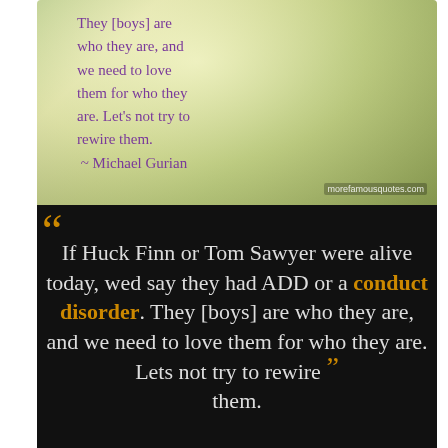[Figure (photo): A nature/forest background image with soft green and yellow tones. Purple text overlay reads: 'They [boys] are who they are, and we need to love them for who they are. Let's not try to rewire them. ~ Michael Gurian'. Watermark: morefamousquotes.com]
If Huck Finn or Tom Sawyer were alive today, wed say they had ADD or a conduct disorder. They [boys] are who they are, and we need to love them for who they are. Lets not try to rewire them. — Michael Gurian —